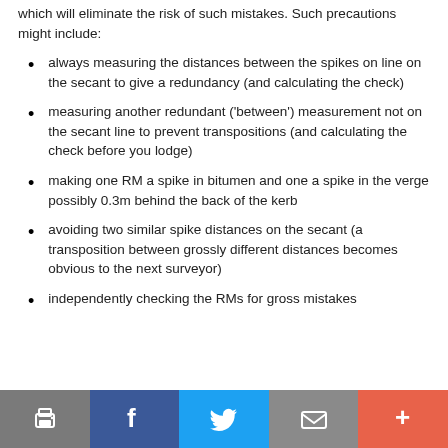which will eliminate the risk of such mistakes. Such precautions might include:
always measuring the distances between the spikes on line on the secant to give a redundancy (and calculating the check)
measuring another redundant (‘between’) measurement not on the secant line to prevent transpositions (and calculating the check before you lodge)
making one RM a spike in bitumen and one a spike in the verge possibly 0.3m behind the back of the kerb
avoiding two similar spike distances on the secant (a transposition between grossly different distances becomes obvious to the next surveyor)
independently checking the RMs for gross mistakes
Print | Facebook | Twitter | Email | More